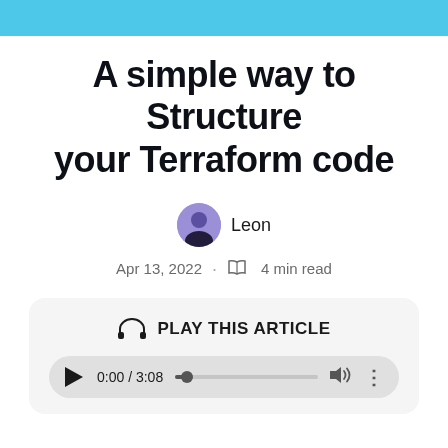A simple way to Structure your Terraform code
Leon
Apr 13, 2022 · 4 min read
[Figure (other): Audio player widget with headphone icon, PLAY THIS ARTICLE label, play button, time display 0:00 / 3:08, progress bar, volume icon, and more options icon]